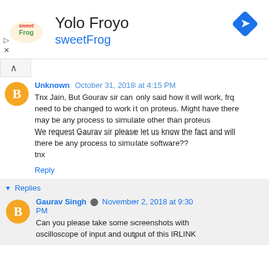[Figure (screenshot): Ad banner for sweetFrog with logo, title 'Yolo Froyo', subtitle 'sweetFrog', navigation diamond icon, and play/close controls]
Unknown  October 31, 2018 at 4:15 PM
Tnx Jain, But Gourav sir can only said how it will work, frq need to be changed to work it on proteus. Might have there may be any process to simulate other than proteus
We request Gaurav sir please let us know the fact and will there be any process to simulate software??
tnx
Reply
▾ Replies
Gaurav Singh  November 2, 2018 at 9:30 PM
Can you please take some screenshots with oscilloscope of input and output of this IRLINK